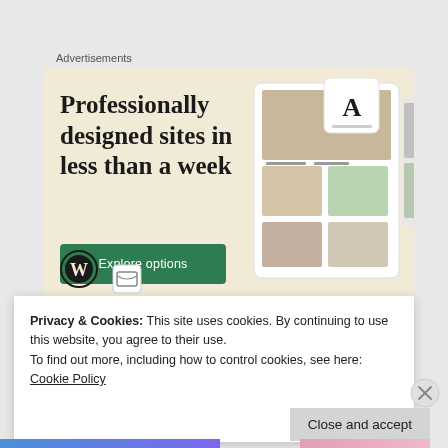Advertisements
[Figure (screenshot): WordPress advertisement showing 'Professionally designed sites in less than a week' with a green 'Explore options' button, WordPress logo, and website mockup screenshots on a cream/beige background]
Privacy & Cookies: This site uses cookies. By continuing to use this website, you agree to their use.
To find out more, including how to control cookies, see here: Cookie Policy
Close and accept